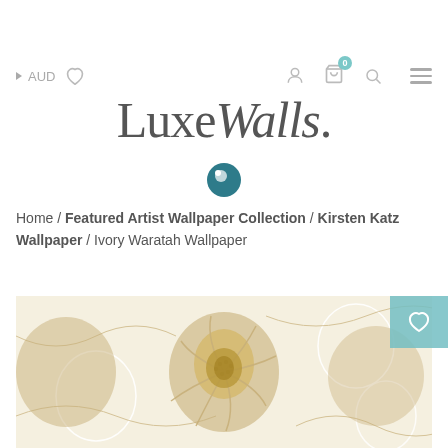AUD ♥ 👤 🛒 0 🔍 ☰
LuxeWalls.
Home / Featured Artist Wallpaper Collection / Kirsten Katz Wallpaper / Ivory Waratah Wallpaper
[Figure (photo): Ivory Waratah Wallpaper product image showing gold and white floral waratah pattern with a teal wishlist heart button in top right corner]